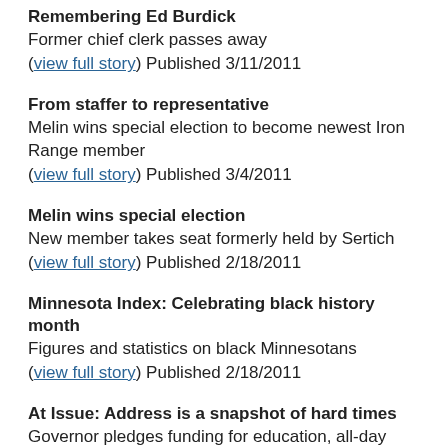Remembering Ed Burdick
Former chief clerk passes away
(view full story) Published 3/11/2011
From staffer to representative
Melin wins special election to become newest Iron Range member
(view full story) Published 3/4/2011
Melin wins special election
New member takes seat formerly held by Sertich
(view full story) Published 2/18/2011
Minnesota Index: Celebrating black history month
Figures and statistics on black Minnesotans
(view full story) Published 2/18/2011
At Issue: Address is a snapshot of hard times
Governor pledges funding for education, all-day kindergarten
(view full story) Published 2/11/2011
A farmer with wings (New Member)